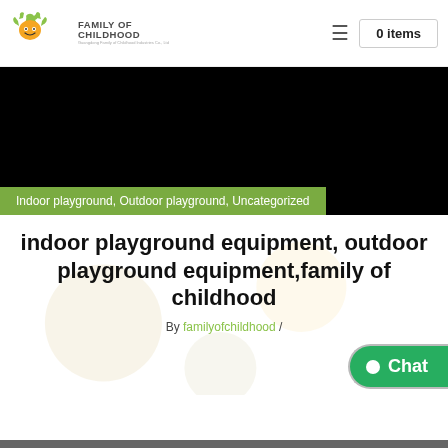[Figure (logo): Family of Childhood logo with star/smiley character in green and orange, with company name text]
≡  0 items
[Figure (photo): Large black/dark hero image banner]
Indoor playground, Outdoor playground, Uncategorized
indoor playground equipment, outdoor playground equipment,family of childhood
By familyofchildhood /
[Figure (other): Green Chat button with circle dot icon]